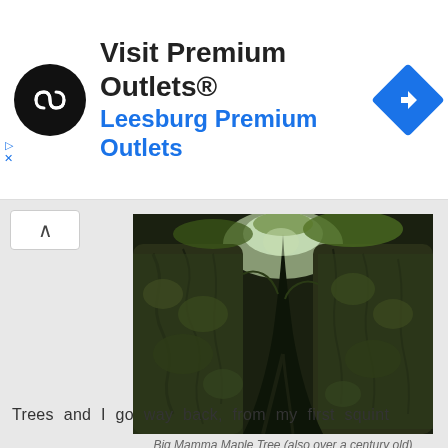[Figure (infographic): Ad banner for Visit Premium Outlets featuring a circular black logo with double arrow, text 'Visit Premium Outlets®' in bold black and 'Leesburg Premium Outlets' in blue, and a blue diamond navigation icon on the right.]
[Figure (photo): Photograph of a massive moss-covered maple tree trunk with deeply furrowed bark, taken looking upward through the split trunk toward green foliage and sky above.]
Big Mamma Maple Tree (also over a century old)
Trees and I go way back, from my first squint